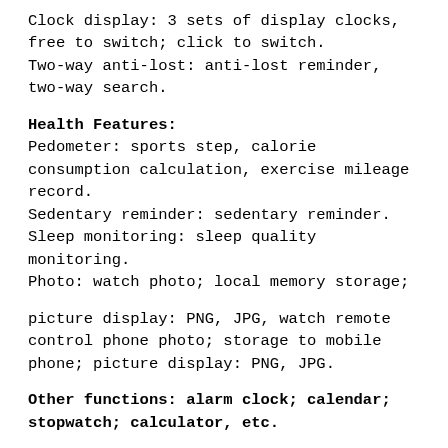Clock display: 3 sets of display clocks, free to switch; click to switch.
Two-way anti-lost: anti-lost reminder, two-way search.
Health Features:
Pedometer: sports step, calorie consumption calculation, exercise mileage record.
Sedentary reminder: sedentary reminder.
Sleep monitoring: sleep quality monitoring.
Photo: watch photo; local memory storage;
picture display: PNG, JPG, watch remote control phone photo; storage to mobile phone; picture display: PNG, JPG.
Other functions: alarm clock; calendar; stopwatch; calculator, etc.
Bluetooth push information: QQ, WeChat, Twitter, Facebook and other timely information, SMS push